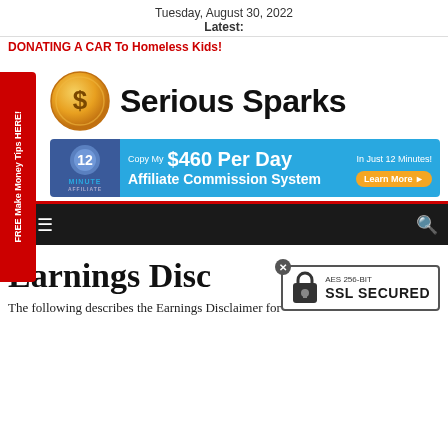Tuesday, August 30, 2022
Latest:
DONATING A CAR To Homeless Kids!
[Figure (logo): Serious Sparks logo with gold dollar coin icon and bold text 'Serious Sparks']
[Figure (infographic): 12 Minute Affiliate banner: Copy My $460 Per Day In Just 12 Minutes! Affiliate Commission System Learn More button]
[Figure (infographic): Navigation bar with home icon, hamburger menu, and search icon on dark background]
Earnings Disc
[Figure (infographic): AES 256-BIT SSL SECURED badge with padlock icon]
The following describes the Earnings Disclaimer for